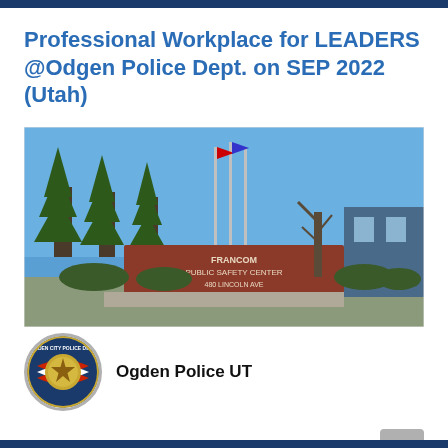Professional Workplace for LEADERS @Odgen Police Dept. on SEP 2022 (Utah)
[Figure (photo): Exterior photo of Francom Public Safety Center at 480 Lincoln Ave, Ogden, Utah with flagpoles and trees. Below the photo is the Ogden City Police Department badge and the text 'Ogden Police UT'.]
Ogden Leaders Class – Private